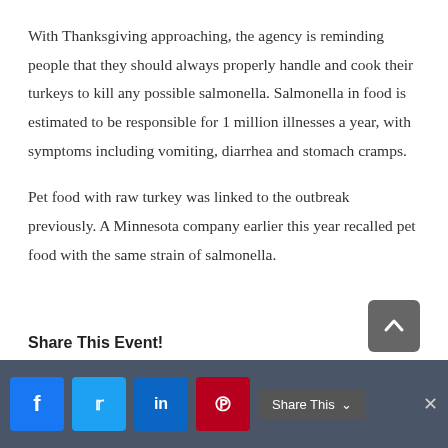With Thanksgiving approaching, the agency is reminding people that they should always properly handle and cook their turkeys to kill any possible salmonella. Salmonella in food is estimated to be responsible for 1 million illnesses a year, with symptoms including vomiting, diarrhea and stomach cramps.
Pet food with raw turkey was linked to the outbreak previously. A Minnesota company earlier this year recalled pet food with the same strain of salmonella.
Share This Event!
f  t  in  Share This  ×